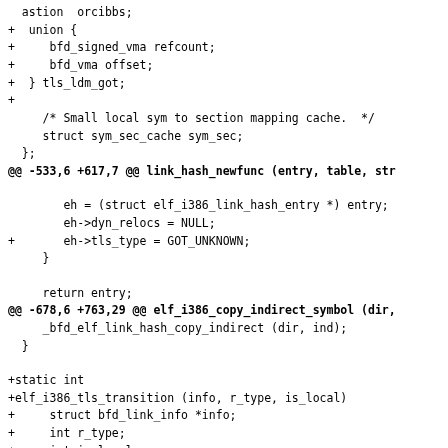Code diff showing changes to elf_i386 TLS support functions including union struct fields, link_hash_newfunc modification, and elf_i386_tls_transition function addition